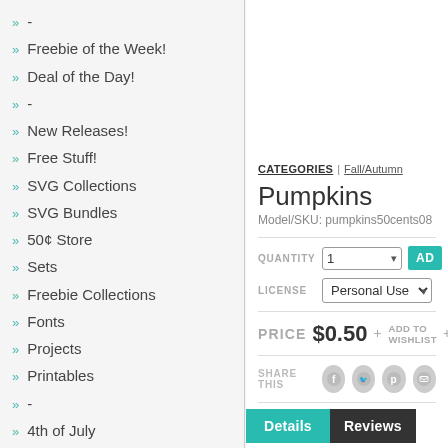-
Freebie of the Week!
Deal of the Day!
-
New Releases!
Free Stuff!
SVG Collections
SVG Bundles
50¢ Store
Sets
Freebie Collections
Fonts
Projects
Printables
-
4th of July
Amusement Park/Carnival
Animals/Pets
Baby
Beach/Ocean/Tropical
Birthday
CATEGORIES | Fall/Autumn
Pumpkins
Model/SKU: pumpkins50cents08
QUANTITY  1  AD
LICENSE  Personal Use
PRICE $0.50 + ADD TO WISHLIST +
SHARE THIS
Details  Reviews